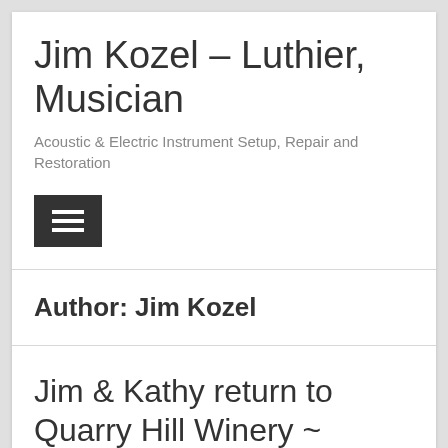Jim Kozel – Luthier, Musician
Acoustic & Electric Instrument Setup, Repair and Restoration
[Figure (other): Hamburger menu button icon (three horizontal lines on dark square background)]
Author: Jim Kozel
Jim & Kathy return to Quarry Hill Winery ~ August 6th!